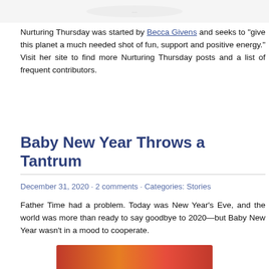[Figure (photo): Partial top image, cropped, showing faint outlines against white background]
Nurturing Thursday was started by Becca Givens and seeks to "give this planet a much needed shot of fun, support and positive energy." Visit her site to find more Nurturing Thursday posts and a list of frequent contributors.
Baby New Year Throws a Tantrum
December 31, 2020 · 2 comments · Categories: Stories
Father Time had a problem. Today was New Year's Eve, and the world was more than ready to say goodbye to 2020—but Baby New Year wasn't in a mood to cooperate.
[Figure (photo): Bottom partial photo, cropped, showing warm reddish tones]